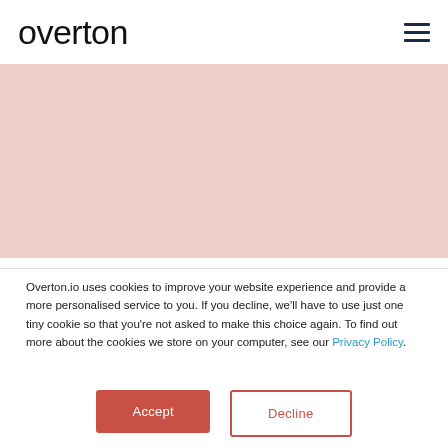overton
[Figure (other): Salmon/pink colored banner strip across the page]
Overton.io uses cookies to improve your website experience and provide a more personalised service to you. If you decline, we'll have to use just one tiny cookie so that you're not asked to make this choice again. To find out more about the cookies we store on your computer, see our Privacy Policy.
Accept
Decline